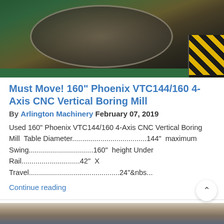[Figure (photo): Photo of a large industrial CNC vertical boring mill machine with a round table surface, green machine frame, and yellow/black hazard striping visible in the lower right corner.]
Must Move! 160" Phoenix VTC144/160 4-Axis CNC Vertical Boring Mill
By Arlington Machinery February 07, 2019
Used 160" Phoenix VTC144/160 4-Axis CNC Vertical Boring Mill  Table Diameter.....................................144"  maximum Swing................................160"  height Under Rail.............................42"  X Travel.............................................24"&nbs...
Continue reading
[Figure (photo): Partial photo of another industrial machine, visible at the very bottom of the page.]